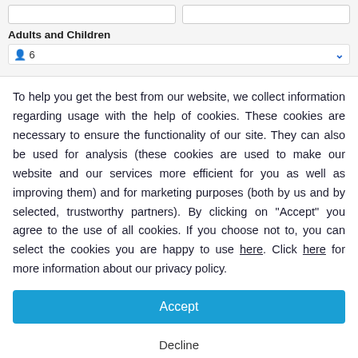[Figure (screenshot): Top portion of a travel booking form showing two input fields side by side, a bold label 'Adults and Children', and a dropdown row showing a person icon and '6' with a blue chevron arrow.]
To help you get the best from our website, we collect information regarding usage with the help of cookies. These cookies are necessary to ensure the functionality of our site. They can also be used for analysis (these cookies are used to make our website and our services more efficient for you as well as improving them) and for marketing purposes (both by us and by selected, trustworthy partners). By clicking on "Accept" you agree to the use of all cookies. If you choose not to, you can select the cookies you are happy to use here. Click here for more information about our privacy policy.
Accept
Decline
Configure